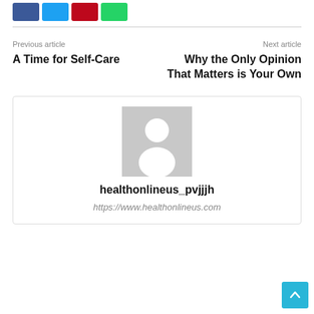[Figure (other): Social share buttons: Facebook (blue), Twitter (light blue), Pinterest (red), WhatsApp (green)]
Previous article
A Time for Self-Care
Next article
Why the Only Opinion That Matters is Your Own
[Figure (illustration): Generic user avatar placeholder image — gray background with white silhouette of a person]
healthonlineus_pvjjjh
https://www.healthonlineus.com
[Figure (other): Back to top button — cyan/teal square with upward arrow]